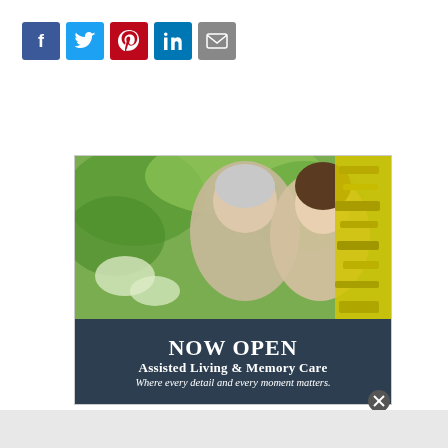[Figure (infographic): Social share buttons: Facebook (blue), Twitter (light blue), Pinterest (red), LinkedIn (blue), Email (grey)]
[Figure (infographic): Advertisement banner: photo of two smiling women (older and younger) in a garden setting with yellow accent, dark navy banner below reading NOW OPEN / Assisted Living & Memory Care / Where every detail and every moment matters.]
[Figure (other): Close button (X) overlaid on bottom right of advertisement]